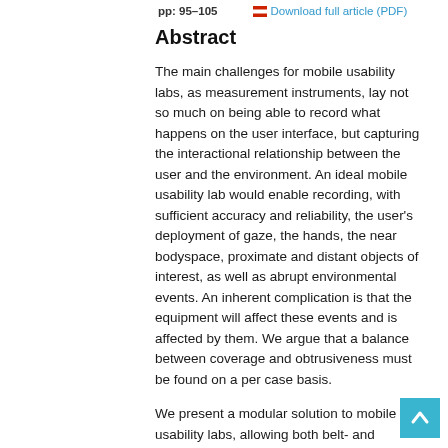pp: 95–105   Download full article (PDF)
Abstract
The main challenges for mobile usability labs, as measurement instruments, lay not so much on being able to record what happens on the user interface, but capturing the interactional relationship between the user and the environment. An ideal mobile usability lab would enable recording, with sufficient accuracy and reliability, the user's deployment of gaze, the hands, the near bodyspace, proximate and distant objects of interest, as well as abrupt environmental events. An inherent complication is that the equipment will affect these events and is affected by them. We argue that a balance between coverage and obtrusiveness must be found on a per case basis.
We present a modular solution to mobile usability labs, allowing both belt- and backpack-worn configurations and flexible division of equipment between the user, the moderator,